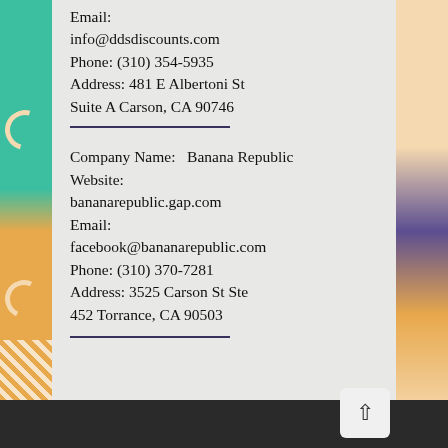Email: info@ddsdiscounts.com Phone: (310) 354-5935 Address: 481 E Albertoni St Suite A Carson, CA 90746
Company Name: Banana Republic Website: bananarepublic.gap.com Email: facebook@bananarepublic.com Phone: (310) 370-7281 Address: 3525 Carson St Ste 452 Torrance, CA 90503